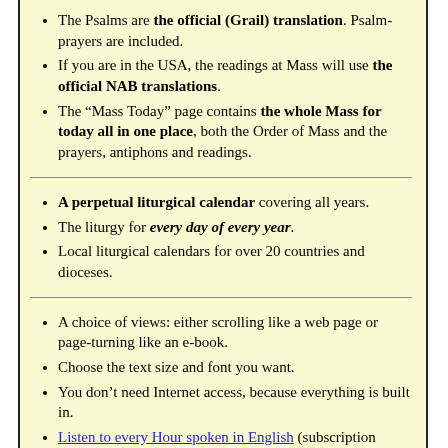The Psalms are the official (Grail) translation. Psalm-prayers are included.
If you are in the USA, the readings at Mass will use the official NAB translations.
The “Mass Today” page contains the whole Mass for today all in one place, both the Order of Mass and the prayers, antiphons and readings.
A perpetual liturgical calendar covering all years.
The liturgy for every day of every year.
Local liturgical calendars for over 20 countries and dioceses.
A choice of views: either scrolling like a web page or page-turning like an e-book.
Choose the text size and font you want.
You don’t need Internet access, because everything is built in.
Listen to every Hour spoken in English (subscription required).
Many other features!